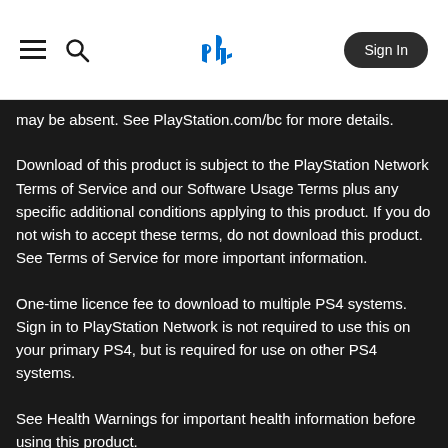PlayStation navigation header with hamburger menu, search icon, PlayStation logo, and Sign In button
may be absent. See PlayStation.com/bc for more details.
Download of this product is subject to the PlayStation Network Terms of Service and our Software Usage Terms plus any specific additional conditions applying to this product. If you do not wish to accept these terms, do not download this product. See Terms of Service for more important information.
One-time licence fee to download to multiple PS4 systems. Sign in to PlayStation Network is not required to use this on your primary PS4, but is required for use on other PS4 systems.
See Health Warnings for important health information before using this product.
Library programs ©Sony Interactive Entertainment Inc. exclusively licensed to Sony Interactive Entertainment Europe. Software Usage Terms apply, See